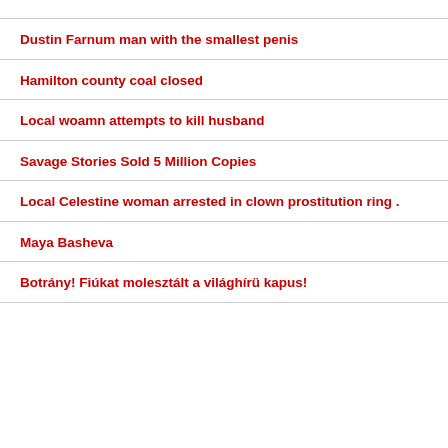Dustin Farnum man with the smallest penis
Hamilton county coal closed
Local woamn attempts to kill husband
Savage Stories Sold 5 Million Copies
Local Celestine woman arrested in clown prostitution ring .
Maya Basheva
Botrány! Fiúkat molesztált a világhírü kapus!